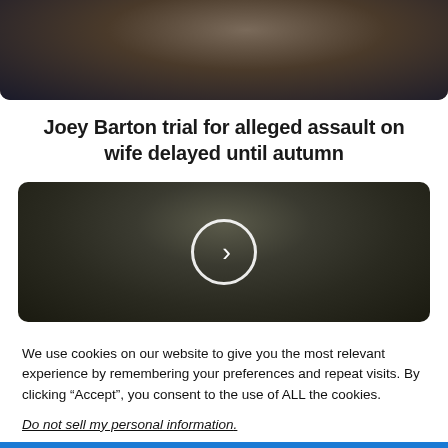[Figure (photo): Partial photo of a man's face/head cropped at top of page, dark background tones]
Joey Barton trial for alleged assault on wife delayed until autumn
[Figure (photo): Video thumbnail showing a man's face outdoors with blurred background, play button overlay in center]
We use cookies on our website to give you the most relevant experience by remembering your preferences and repeat visits. By clicking “Accept”, you consent to the use of ALL the cookies.
Do not sell my personal information.
Cookie Settings   Accept